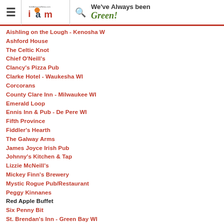IrishAmericanNews.com IAm | We've Always been Green!
Aishling on the Lough - Kenosha WI
Ashford House
The Celtic Knot
Chief O'Neill's
Clancy's Pizza Pub
Clarke Hotel - Waukesha WI
Corcorans
County Clare Inn - Milwaukee WI
Emerald Loop
Ennis Inn & Pub - De Pere WI
Fifth Province
Fiddler's Hearth
The Galway Arms
James Joyce Irish Pub
Johnny's Kitchen & Tap
Lizzie McNeill's
Mickey Finn's Brewery
Mystic Rogue Pub/Restaurant
Peggy Kinnanes
Red Apple Buffet
Six Penny Bit
St. Brendan's Inn - Green Bay WI
Vaughan's Pub